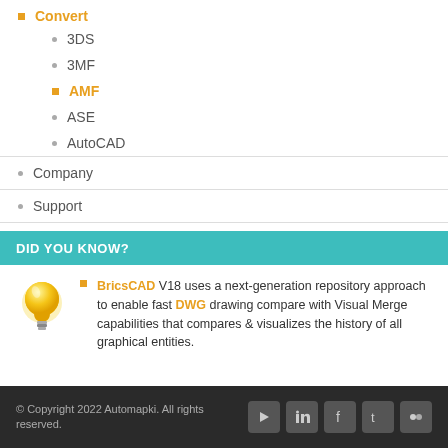Convert
3DS
3MF
AMF
ASE
AutoCAD
Company
Support
DID YOU KNOW?
BricsCAD V18 uses a next-generation repository approach to enable fast DWG drawing compare with Visual Merge capabilities that compares & visualizes the history of all graphical entities.
© Copyright 2022 Automapki. All rights reserved.